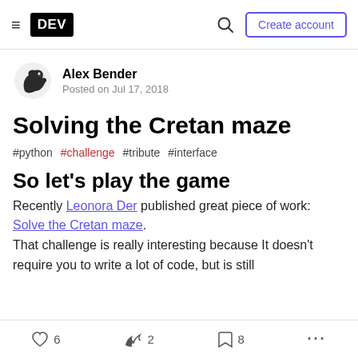DEV — Create account
[Figure (logo): DEV community logo — white DEV text on black rounded rectangle]
Alex Bender
Posted on Jul 17, 2018
Solving the Cretan maze
#python #challenge #tribute #interface
So let's play the game
Recently Leonora Der published great piece of work: Solve the Cretan maze. That challenge is really interesting because It doesn't require you to write a lot of code, but is still
♡ 6  🔥 2  🔖 8  ...